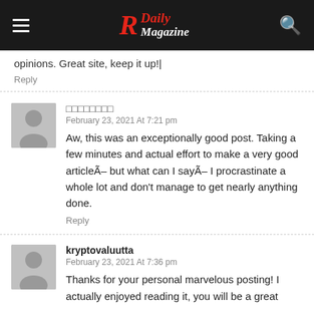R Daily Magazine
opinions. Great site, keep it up!
Reply
□□□□□□□□
February 23, 2021 At 7:21 pm
Aw, this was an exceptionally good post. Taking a few minutes and actual effort to make a very good articleÃ– but what can I sayÃ– I procrastinate a whole lot and don't manage to get nearly anything done.
Reply
kryptovaluutta
February 23, 2021 At 7:36 pm
Thanks for your personal marvelous posting! I actually enjoyed reading it, you will be a great